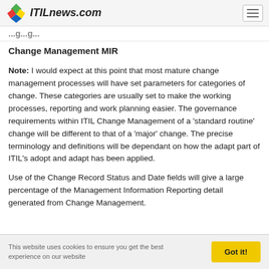ITILnews.com
Change Management MIR
Note: I would expect at this point that most mature change management processes will have set parameters for categories of change. These categories are usually set to make the working processes, reporting and work planning easier. The governance requirements within ITIL Change Management of a 'standard routine' change will be different to that of a 'major' change. The precise terminology and definitions will be dependant on how the adapt part of ITIL’s adopt and adapt has been applied.
Use of the Change Record Status and Date fields will give a large percentage of the Management Information Reporting detail generated from Change Management.
This website uses cookies to ensure you get the best experience on our website Got it!